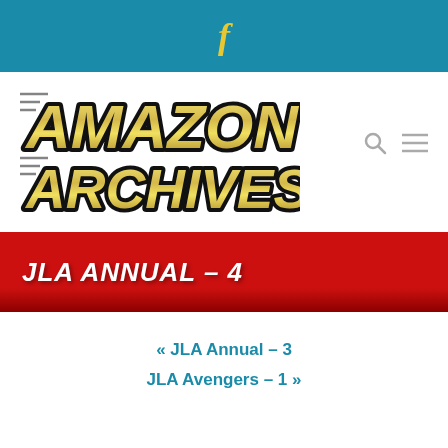f
[Figure (logo): Amazon Archives logo with gold metallic lettering and black outline on white background]
JLA ANNUAL – 4
« JLA Annual – 3
JLA Avengers – 1 »